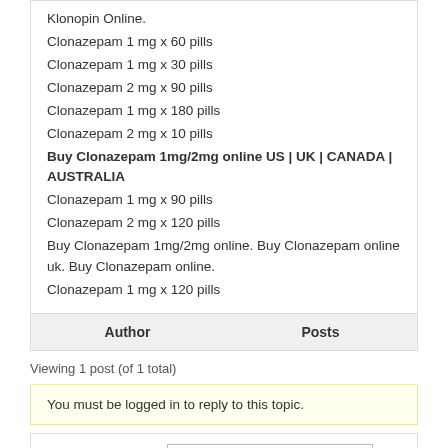Klonopin Online.
Clonazepam 1 mg x 60 pills
Clonazepam 1 mg x 30 pills
Clonazepam 2 mg x 90 pills
Clonazepam 1 mg x 180 pills
Clonazepam 2 mg x 10 pills
Buy Clonazepam 1mg/2mg online US | UK | CANADA | AUSTRALIA
Clonazepam 1 mg x 90 pills
Clonazepam 2 mg x 120 pills
Buy Clonazepam 1mg/2mg online. Buy Clonazepam online uk. Buy Clonazepam online.
Clonazepam 1 mg x 120 pills
| Author | Posts |
| --- | --- |
Viewing 1 post (of 1 total)
You must be logged in to reply to this topic.
Username:
Password: